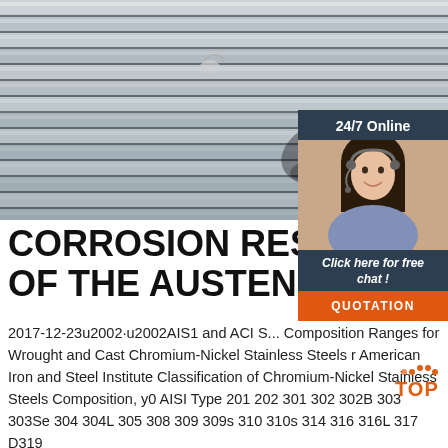[Figure (photo): Photo of stainless steel rebar rods bundled together, with a shadow of a person visible. Background photo of metal reinforcement bars.]
CORROSION RESISTANCE OF THE AUSTENITIC
2017-12-23u2002·u2002AIS1 and ACI S... Composition Ranges for Wrought and Cast Chromium-Nickel Stainless Steels r American Iron and Steel Institute Classification of Chromium-Nickel Stainless Steels Composition, y0 AISI Type 201 202 301 302 302B 303 303Se 304 304L 305 308 309 309s 310 310s 314 316 316L 317 D319